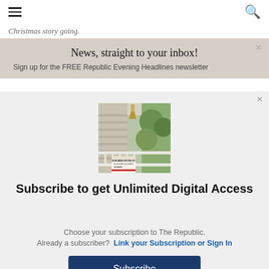Christmas story going.
News, straight to your inbox!
Sign up for the FREE Republic Evening Headlines newsletter
[Figure (photo): The Republic newspaper shown on a residential porch with a lamp and white railing visible in the background.]
Subscribe to get Unlimited Digital Access
Choose your subscription to The Republic.
Already a subscriber?  Link your Subscription or Sign In
Subscribe